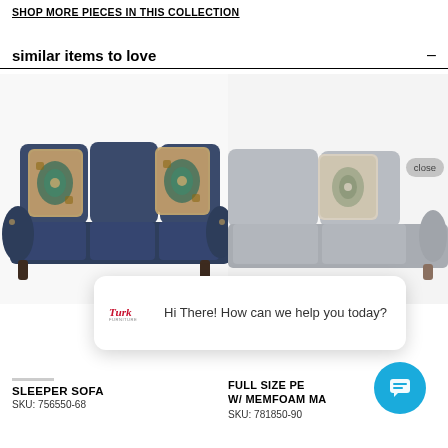SHOP MORE PIECES IN THIS COLLECTION
similar items to love
[Figure (photo): Navy blue three-seat sofa with decorative patterned pillows in teal and gold]
[Figure (photo): Light gray sofa with decorative patterned pillow, partially visible]
[Figure (illustration): Chat popup with Turk Furniture logo and text: Hi There! How can we help you today? with chat bubble button]
SLEEPER SOFA
SKU: 756550-68
FULL SIZE PE W/ MEMFOAM MA
SKU: 781850-90